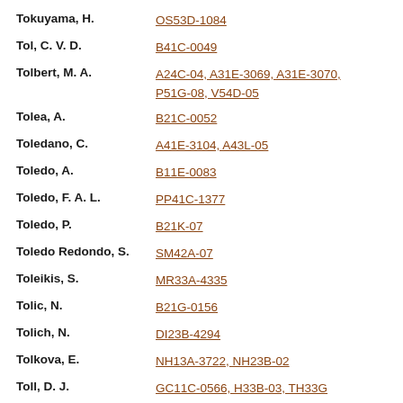Tokuyama, H.    OS53D-1084
Tol, C. V. D.    B41C-0049
Tolbert, M. A.    A24C-04, A31E-3069, A31E-3070, P51G-08, V54D-05
Tolea, A.    B21C-0052
Toledano, C.    A41E-3104, A43L-05
Toledo, A.    B11E-0083
Toledo, F. A. L.    PP41C-1377
Toledo, P.    B21K-07
Toledo Redondo, S.    SM42A-07
Toleikis, S.    MR33A-4335
Tolic, N.    B21G-0156
Tolich, N.    DI23B-4294
Tolkova, E.    NH13A-3722, NH23B-02
Toll, D. J.    GC11C-0566, H33B-03, TH33G